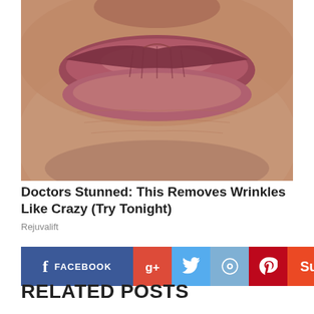[Figure (photo): Close-up macro photograph of aged, wrinkled lips and surrounding skin area, showing detailed skin texture and lip creases.]
Doctors Stunned: This Removes Wrinkles Like Crazy (Try Tonight)
Rejuvalift
[Figure (infographic): Row of social media share buttons: Facebook, Google+, Twitter, Reddit, Pinterest, StumbleUpon, Email]
RELATED POSTS